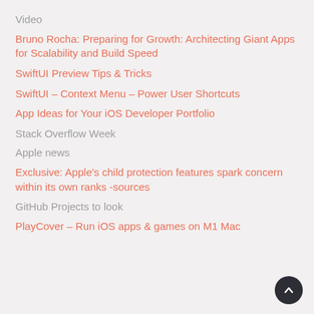Video
Bruno Rocha: Preparing for Growth: Architecting Giant Apps for Scalability and Build Speed
SwiftUI Preview Tips & Tricks
SwiftUI – Context Menu – Power User Shortcuts
App Ideas for Your iOS Developer Portfolio
Stack Overflow Week
Apple news
Exclusive: Apple's child protection features spark concern within its own ranks -sources
GitHub Projects to look
PlayCover – Run iOS apps & games on M1 Mac